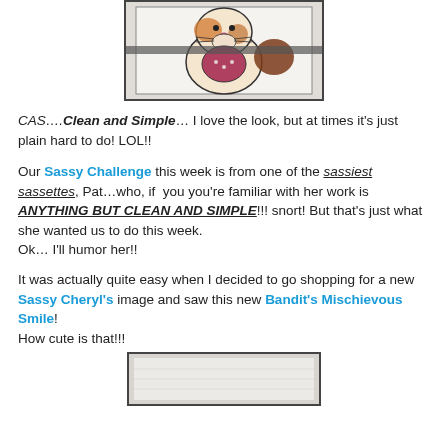[Figure (illustration): Cartoon illustration of a cute cat or animal character with orange/brown coloring, black outlines, framed with a dark border, on a textured white/grey background]
CAS....Clean and Simple… I love the look, but at times it's just plain hard to do! LOL!!
Our Sassy Challenge this week is from one of the sassiest sassettes, Pat…who, if  you you're familiar with her work is ANYTHING BUT CLEAN AND SIMPLE!!! snort! But that's just what she wanted us to do this week.
Ok… I'll humor her!!
It was actually quite easy when I decided to go shopping for a new Sassy Cheryl's image and saw this new Bandit's Mischievous Smile!
How cute is that!!!
[Figure (photo): Photo of a white textured paper or card stock piece, framed with a dark border]